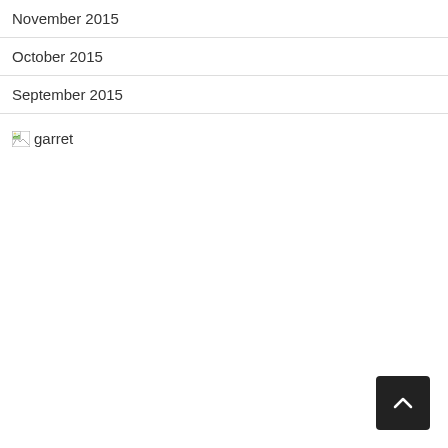November 2015
October 2015
September 2015
[Figure (other): Broken image icon followed by alt text 'garret']
[Figure (other): Back to top button: dark square with upward chevron arrow]